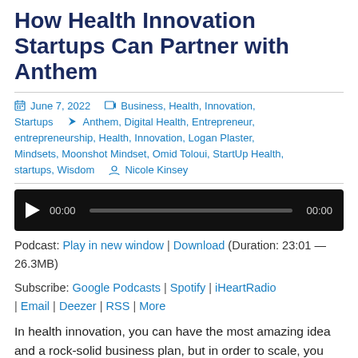How Health Innovation Startups Can Partner with Anthem
June 7, 2022  Business, Health, Innovation, Startups  Anthem, Digital Health, Entrepreneur, entrepreneurship, Health, Innovation, Logan Plaster, Mindsets, Moonshot Mindset, Omid Toloui, StartUp Health, startups, Wisdom  Nicole Kinsey
[Figure (other): Audio player widget with play button, progress bar showing 00:00 / 00:00 on black background]
Podcast: Play in new window | Download (Duration: 23:01 — 26.3MB)
Subscribe: Google Podcasts | Spotify | iHeartRadio | Email | Deezer | RSS | More
In health innovation, you can have the most amazing idea and a rock-solid business plan, but in order to scale, you might still need to find the right